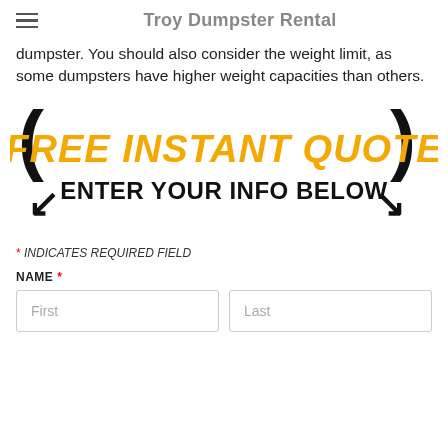Troy Dumpster Rental
dumpster. You should also consider the weight limit, as some dumpsters have higher weight capacities than others.
[Figure (infographic): Free Instant Quote banner with large orange bold italic text reading FREE INSTANT QUOTE and black bold text reading ENTER YOUR INFO BELOW, flanked by large curved arrows pointing inward and downward.]
* INDICATES REQUIRED FIELD
NAME *
First
Last